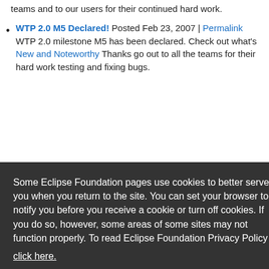teams and to our users for their continued hard work.
WTP 2.0 M5 Declared! Posted Feb 23, 2007 | Permalink
WTP 2.0 milestone M5 has been declared. Check out what's New and Noteworthy Thanks go out to all the teams for their hard work testing and fixing bugs.
Some Eclipse Foundation pages use cookies to better serve you when you return to the site. You can set your browser to notify you before you receive a cookie or turn off cookies. If you do so, however, some areas of some sites may not function properly. To read Eclipse Foundation Privacy Policy click here.
The Development Power of Open Source AJAX Tooling